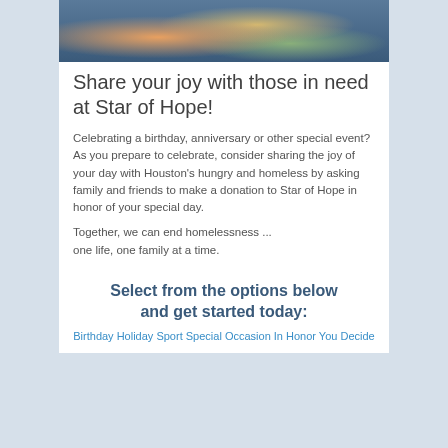[Figure (photo): Photo of a plate of food with vegetables, set against a colorful background with people in red clothing visible]
Share your joy with those in need at Star of Hope!
Celebrating a birthday, anniversary or other special event? As you prepare to celebrate, consider sharing the joy of your day with Houston's hungry and homeless by asking family and friends to make a donation to Star of Hope in honor of your special day.
Together, we can end homelessness ... one life, one family at a time.
Select from the options below and get started today:
Birthday Holiday Sport Special Occasion In Honor You Decide